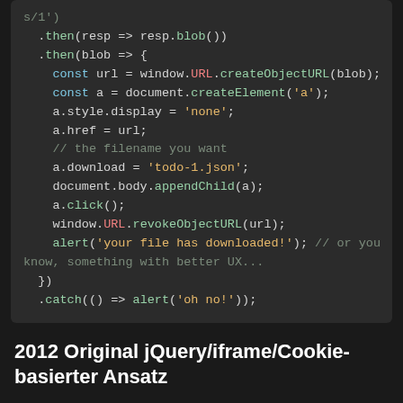[Figure (screenshot): Code block showing JavaScript fetch/download code with syntax highlighting on dark background]
2012 Original jQuery/iframe/Cookie-basierter Ansatz
bläulich ist völlig richtig, Sie können dies nicht über Ajax tun, da JavaScript-Dateien nicht direkt auf dem